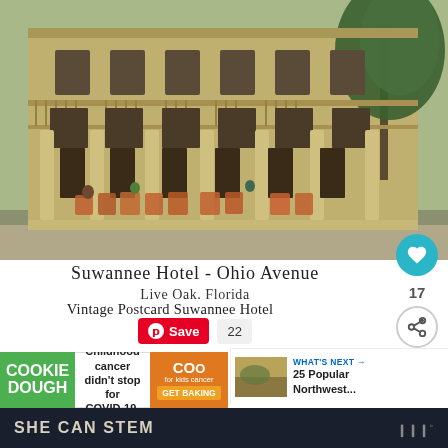[Figure (photo): Vintage colorized postcard photo of Suwannee Hotel on Ohio Avenue, Live Oak, Florida. A large multi-story building with columns and balconies, an antique automobile parked in front, people sitting in chairs on the porch, and a large tree to the right.]
Suwannee Hotel - Ohio Avenue
Live Oak. Florida
Vintage Postcard Suwannee Hotel
Save 22
[Figure (infographic): WHAT'S NEXT → 25 Popular Northwest... with a thumbnail image of food/scenery]
[Figure (infographic): Cookie Dough advertisement: Childhood cancer didn't stop for COVID-19. Cookie Dough for kids cancer GET BAKING]
SHE CAN STEM